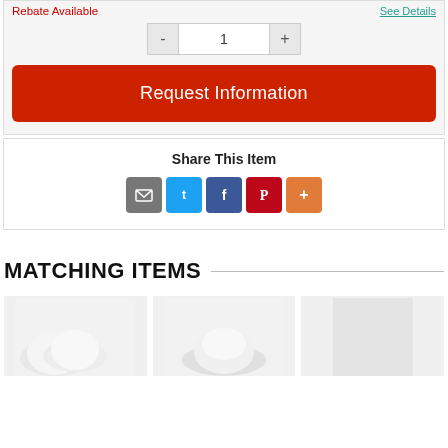Rebate Available
See Details
1
Request Information
Share This Item
[Figure (infographic): Social sharing icons: email (grey), Twitter (blue), Facebook (dark blue), Pinterest (red), More (orange)]
MATCHING ITEMS
[Figure (photo): Matching item product thumbnails showing white ceramic/porcelain items on light background]